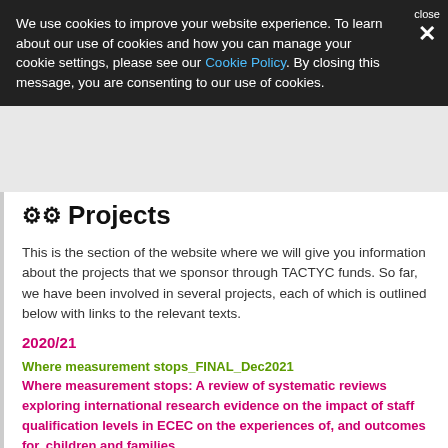We use cookies to improve your website experience. To learn about our use of cookies and how you can manage your cookie settings, please see our Cookie Policy. By closing this message, you are consenting to our use of cookies.
Projects
This is the section of the website where we will give you information about the projects that we sponsor through TACTYC funds. So far, we have been involved in several projects, each of which is outlined below with links to the relevant texts.
2020/21
Where measurement stops_FINAL_Dec2021
Where measurement stops: A review of systematic reviews exploring international research evidence on the impact of staff qualification levels in ECEC on the experiences of, and outcomes for, children and families.